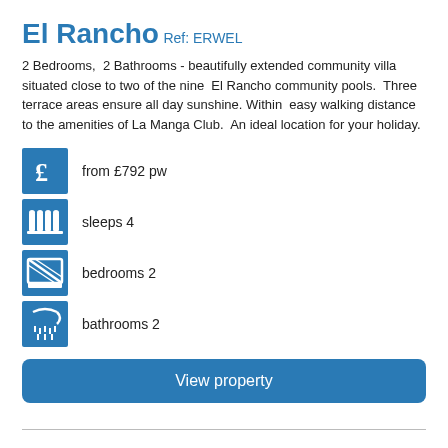El Rancho
Ref: ERWEL
2 Bedrooms,  2 Bathrooms - beautifully extended community villa situated close to two of the nine  El Rancho community pools.  Three terrace areas ensure all day sunshine. Within  easy walking distance to the amenities of La Manga Club.  An ideal location for your holiday.
from £792 pw
sleeps 4
bedrooms 2
bathrooms 2